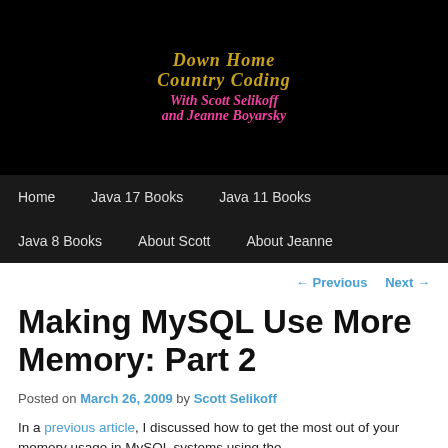[Figure (logo): Down Home Country Coding with Scott Selikoff and Jeanne Boyarsky blog logo on black background]
Home | Java 17 Books | Java 11 Books | Java 8 Books | About Scott | About Jeanne
← Previous   Next →
Making MySQL Use More Memory: Part 2
Posted on March 26, 2009 by Scott Selikoff
In a previous article, I discussed how to get the most out of your memory usage in MySQL systems using the